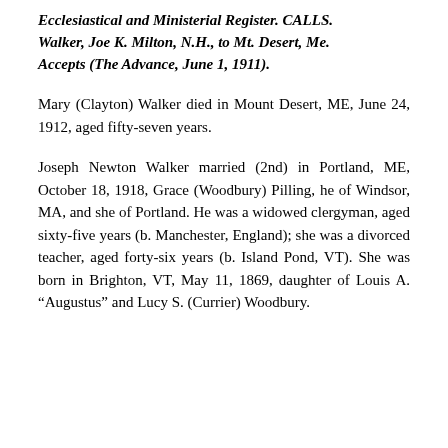Ecclesiastical and Ministerial Register. CALLS. Walker, Joe K. Milton, N.H., to Mt. Desert, Me. Accepts (The Advance, June 1, 1911).
Mary (Clayton) Walker died in Mount Desert, ME, June 24, 1912, aged fifty-seven years.
Joseph Newton Walker married (2nd) in Portland, ME, October 18, 1918, Grace (Woodbury) Pilling, he of Windsor, MA, and she of Portland. He was a widowed clergyman, aged sixty-five years (b. Manchester, England); she was a divorced teacher, aged forty-six years (b. Island Pond, VT). She was born in Brighton, VT, May 11, 1869, daughter of Louis A. “Augustus” and Lucy S. (Currier) Woodbury.